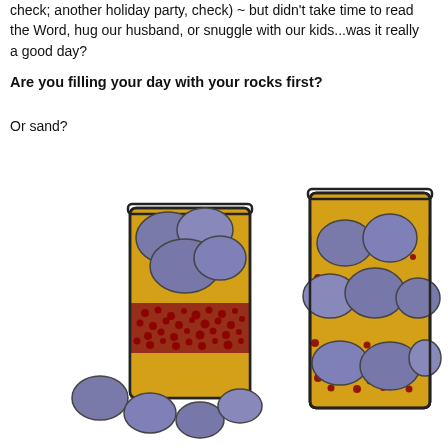check; another holiday party, check) ~ but didn't take time to read the Word, hug our husband, or snuggle with our kids...was it really a good day?
Are you filling your day with your rocks first?
Or sand?
[Figure (illustration): Two glass cylinders side by side. Left jar: rocks piled on top overflowing, with pebbles/gravel and sand layer below, some rocks spilling outside. Right jar: sand/yellow liquid filling the jar with rocks submerged inside and small red pebbles mixed in throughout.]